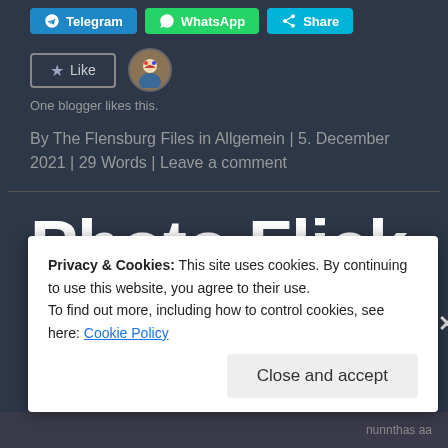[Figure (screenshot): Share buttons: Telegram, WhatsApp, Share]
[Figure (screenshot): Like button with star icon and blogger avatar circle]
One blogger likes this.
By The Flensburg Files in Allgemein | 5. December 2021 | 29 Words | Leave a comment
Photo Flick Nr.
Privacy & Cookies: This site uses cookies. By continuing to use this website, you agree to their use.
To find out more, including how to control cookies, see here: Cookie Policy
Close and accept